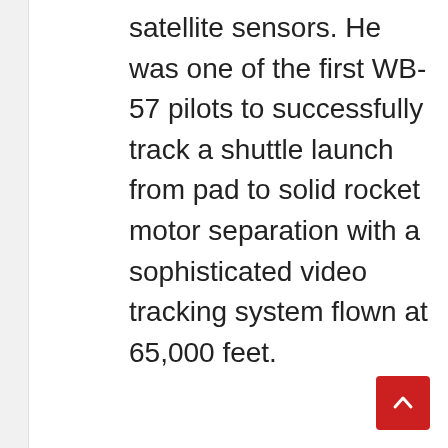satellite sensors. He was one of the first WB-57 pilots to successfully track a shuttle launch from pad to solid rocket motor separation with a sophisticated video tracking system flown at 65,000 feet.